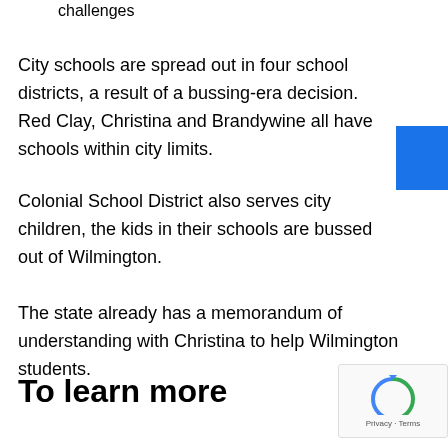challenges
City schools are spread out in four school districts, a result of a bussing-era decision. Red Clay, Christina and Brandywine all have schools within city limits.
Colonial School District also serves city children, the kids in their schools are bussed out of Wilmington.
The state already has a memorandum of understanding with Christina to help Wilmington students.
To learn more